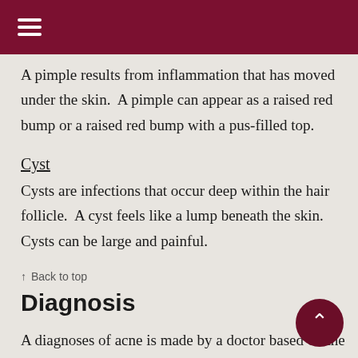≡
A pimple results from inflammation that has moved under the skin.  A pimple can appear as a raised red bump or a raised red bump with a pus-filled top.
Cyst
Cysts are infections that occur deep within the hair follicle.  A cyst feels like a lump beneath the skin.  Cysts can be large and painful.
↑  Back to top
Diagnosis
A diagnoses of acne is made by a doctor based on the